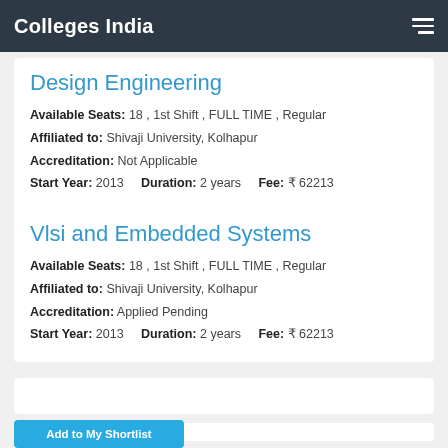Colleges India
Design Engineering
Available Seats: 18 , 1st Shift , FULL TIME , Regular
Affiliated to: Shivaji University, Kolhapur
Accreditation: Not Applicable
Start Year: 2013    Duration: 2 years    Fee: ₹ 62213
Vlsi and Embedded Systems
Available Seats: 18 , 1st Shift , FULL TIME , Regular
Affiliated to: Shivaji University, Kolhapur
Accreditation: Applied Pending
Start Year: 2013    Duration: 2 years    Fee: ₹ 62213
Add to My Shortlist